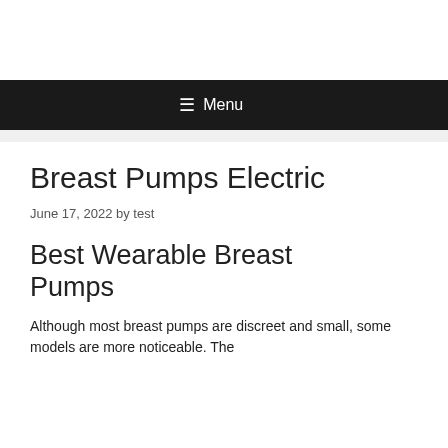Menu
Breast Pumps Electric
June 17, 2022 by test
Best Wearable Breast Pumps
Although most breast pumps are discreet and small, some models are more noticeable. The